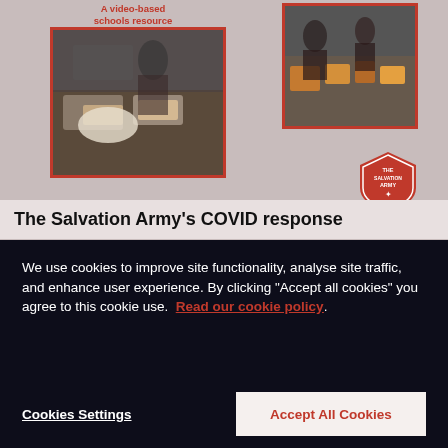[Figure (photo): Screenshot of Salvation Army website showing food service image and COVID response article with cookie consent banner overlay]
The Salvation Army's COVID response
We use cookies to improve site functionality, analyse site traffic, and enhance user experience. By clicking "Accept all cookies" you agree to this cookie use.  Read our cookie policy.
Cookies Settings
Accept All Cookies